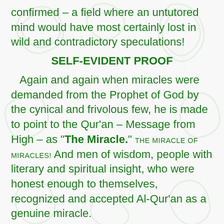confirmed – a field where an untutored mind would have most certainly lost in wild and contradictory speculations!
SELF-EVIDENT PROOF
Again and again when miracles were demanded from the Prophet of God by the cynical and frivolous few, he is made to point to the Qur'an – Message from High – as "The Miracle." THE MIRACLE OF MIRACLES! And men of wisdom, people with literary and spiritual insight, who were honest enough to themselves, recognized and accepted Al-Qur'an as a genuine miracle.